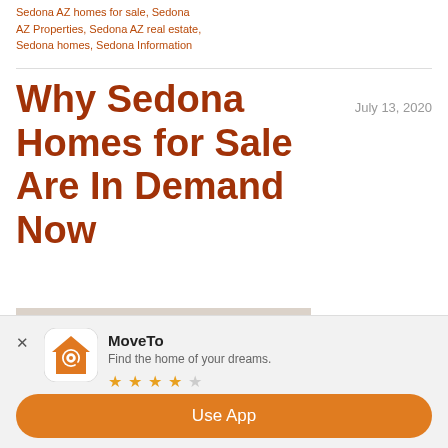Sedona AZ homes for sale, Sedona AZ Properties, Sedona AZ real estate, Sedona homes, Sedona Information
Why Sedona Homes for Sale Are In Demand Now
July 13, 2020
[Figure (photo): Woman with natural updo hairstyle wearing an orange top, smiling, in a bright interior setting]
With so much bad news amid the
MoveTo
Find the home of your dreams.
★★★★☆
Use App